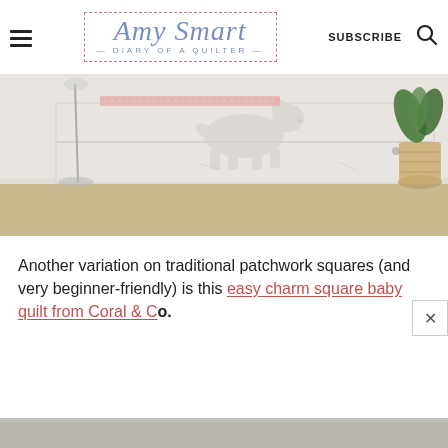Amy Smart — Diary of a Quilter — SUBSCRIBE
[Figure (photo): A white painted wooden storage box/trunk with a white dog silhouette on the front, sitting on a beige rug. A floor lamp is visible on the left and a wicker basket with a green plant is on the right. A pink quilt or fabric is partially visible on top of the chest.]
Another variation on traditional patchwork squares (and very beginner-friendly) is this easy charm square baby quilt from Coral & Co.
[Figure (photo): Bottom strip of another photo, partially visible at the bottom of the page.]